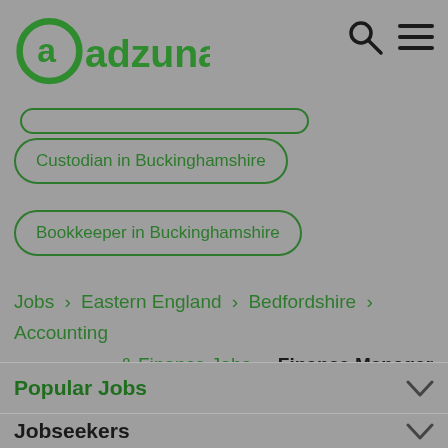adzuna
Custodian in Buckinghamshire
Bookkeeper in Buckinghamshire
Jobs › Eastern England › Bedfordshire › Accounting & Finance Jobs › Finance Manager
Popular Jobs
Jobseekers